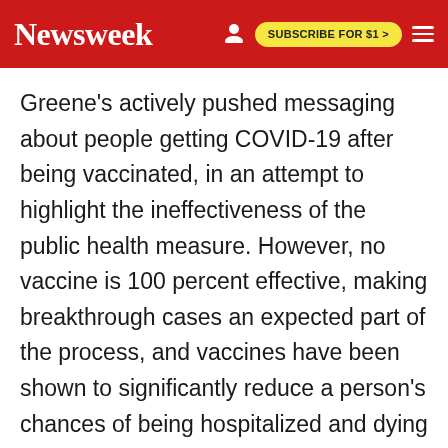Newsweek | SUBSCRIBE FOR $1 >
Greene's actively pushed messaging about people getting COVID-19 after being vaccinated, in an attempt to highlight the ineffectiveness of the public health measure. However, no vaccine is 100 percent effective, making breakthrough cases an expected part of the process, and vaccines have been shown to significantly reduce a person's chances of being hospitalized and dying of COVID-19.